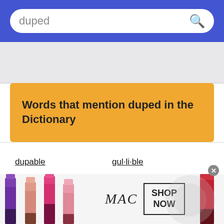duped
Words that mention duped in the Dictionary
dupable
gul·li·ble
lamb
gullage
fall guy
unduped
green
dup·er·y
gudg·eon¹
mon·key
[Figure (photo): MAC cosmetics advertisement showing lipsticks in purple, pink, and red colors with MAC logo and SHOP NOW button]